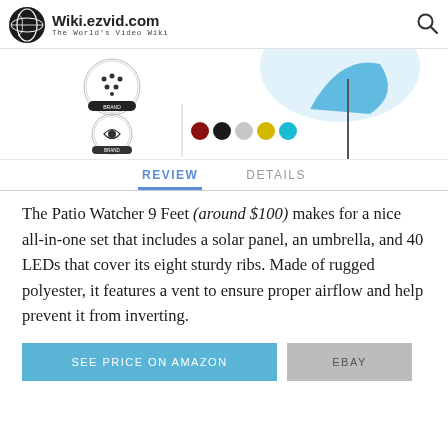Wiki.ezvid.com — The World's Video Wiki
[Figure (photo): Product image area showing patio umbrella with color swatches (dark red, black, light gray, yellow, teal) and brand badge icons]
REVIEW | DETAILS
The Patio Watcher 9 Feet (around $100) makes for a nice all-in-one set that includes a solar panel, an umbrella, and 40 LEDs that cover its eight sturdy ribs. Made of rugged polyester, it features a vent to ensure proper airflow and help prevent it from inverting.
SEE PRICE ON AMAZON | EBAY